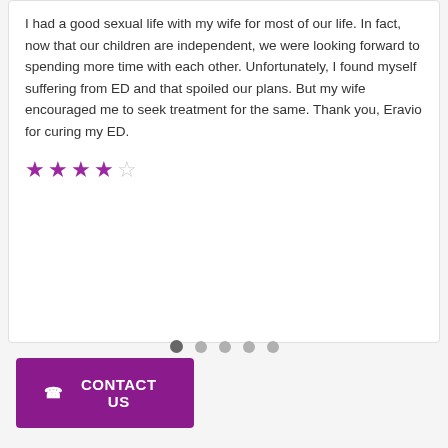I had a good sexual life with my wife for most of our life. In fact, now that our children are independent, we were looking forward to spending more time with each other. Unfortunately, I found myself suffering from ED and that spoiled our plans. But my wife encouraged me to seek treatment for the same. Thank you, Eravio for curing my ED.
[Figure (other): Star rating: 4 out of 5 stars, shown as 4 filled purple stars and 1 empty star]
[Figure (other): Carousel pagination dots: 5 dots, first one is dark/active, remaining 4 are light grey]
CONTACT US